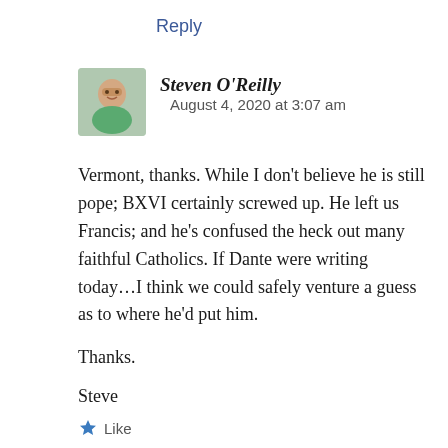Reply
[Figure (photo): Small square avatar photo of Steven O'Reilly, a man in a green shirt]
Steven O'Reilly   August 4, 2020 at 3:07 am
Vermont, thanks. While I don't believe he is still pope; BXVI certainly screwed up. He left us Francis; and he's confused the heck out many faithful Catholics. If Dante were writing today...I think we could safely venture a guess as to where he'd put him.
Thanks.
Steve
Like